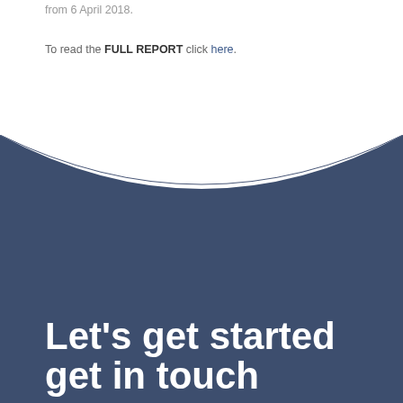from 6 April 2018.
To read the FULL REPORT click here.
[Figure (illustration): Dark blue curved background section with a blurred room interior, forming a wave/arc shape at the top transitioning from white background to dark navy blue.]
Let's get started get in touch